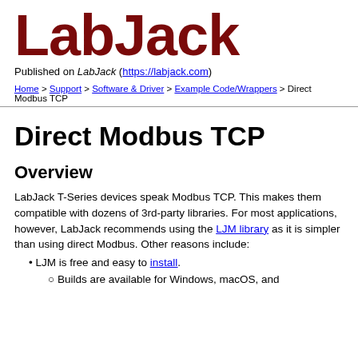[Figure (logo): LabJack logo in dark red/maroon bold text]
Published on LabJack (https://labjack.com)
Home > Support > Software & Driver > Example Code/Wrappers > Direct Modbus TCP
Direct Modbus TCP
Overview
LabJack T-Series devices speak Modbus TCP. This makes them compatible with dozens of 3rd-party libraries. For most applications, however, LabJack recommends using the LJM library as it is simpler than using direct Modbus. Other reasons include:
LJM is free and easy to install.
Builds are available for Windows, macOS, and